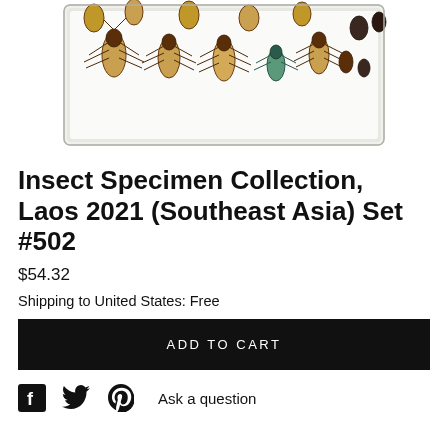[Figure (photo): Photo of an insect specimen collection tray containing multiple pinned beetles and other insects arranged on a white foam board, showing various species including large tan-colored longhorn beetles, smaller dark beetles, and one small blue-green beetle.]
Insect Specimen Collection, Laos 2021 (Southeast Asia) Set #502
$54.32
Shipping to United States: Free
ADD TO CART
Ask a question